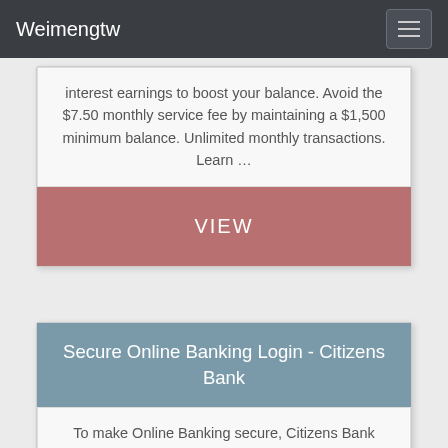Weimengtw
interest earnings to boost your balance. Avoid the $7.50 monthly service fee by maintaining a $1,500 minimum balance. Unlimited monthly transactions. Learn …
VIEW
Secure Online Banking Login - Citizens Bank
To make Online Banking secure, Citizens Bank uses the highest level of encryption available today. Encryption is the process by which information is translated into un-